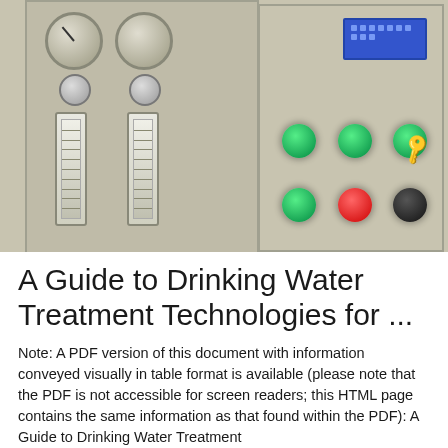[Figure (photo): Close-up photograph of a water treatment control panel with gauges, flow meters, indicator lights (green and red), a digital display, and a key lock on a gray metal panel.]
A Guide to Drinking Water Treatment Technologies for ...
Note: A PDF version of this document with information conveyed visually in table format is available (please note that the PDF is not accessible for screen readers; this HTML page contains the same information as that found within the PDF): A Guide to Drinking Water Treatment